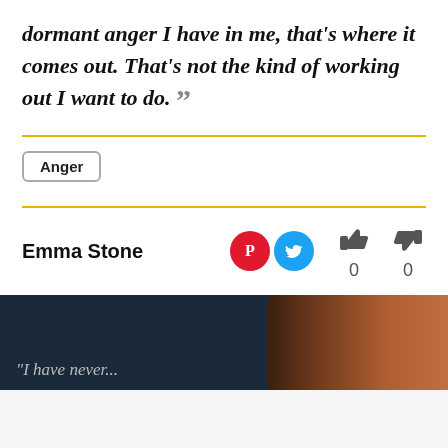dormant anger I have in me, that's where it comes out. That's not the kind of working out I want to do. ”
Anger
Emma Stone
[Figure (other): Social share icons: Pinterest (red circle with P), Twitter (blue circle with bird)]
[Figure (other): Thumbs up icon with count 0, thumbs down icon with count 0]
[Figure (photo): Partial view of next quote card with dark navy background and a woman with reddish-brown hair visible on the right side]